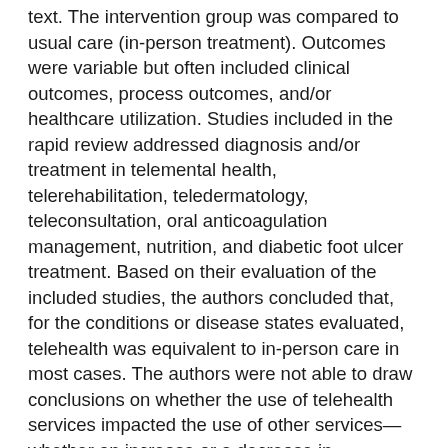text. The intervention group was compared to usual care (in-person treatment). Outcomes were variable but often included clinical outcomes, process outcomes, and/or healthcare utilization. Studies included in the rapid review addressed diagnosis and/or treatment in telemental health, telerehabilitation, teledermatology, teleconsultation, oral anticoagulation management, nutrition, and diabetic foot ulcer treatment. Based on their evaluation of the included studies, the authors concluded that, for the conditions or disease states evaluated, telehealth was equivalent to in-person care in most cases. The authors were not able to draw conclusions on whether the use of telehealth services impacted the use of other services—whether an increase or a decrease in utilization.34
A systematic review by DeNicola and colleagues addressed a different specialty than that seen in the rapid review by Shigekawa and associates. DeNicola and colleagues sought to review the effectiveness of telehealth to improve outcomes in